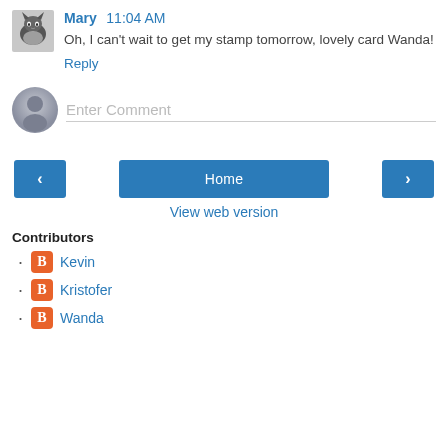[Figure (photo): Small avatar photo of Mary showing a person with a pet]
Mary  11:04 AM
Oh, I can't wait to get my stamp tomorrow, lovely card Wanda!
Reply
[Figure (illustration): Gray default user avatar circle icon]
Enter Comment
‹
Home
›
View web version
Contributors
Kevin
Kristofer
Wanda